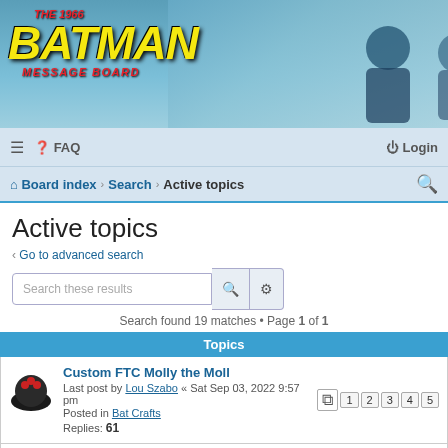[Figure (screenshot): The 1966 Batman Message Board banner header with logo and photo of two men smiling]
≡  ? FAQ    Login
⌂ Board index › Search › Active topics    🔍
Active topics
< Go to advanced search
Search these results   Search found 19 matches • Page 1 of 1
Topics
Custom FTC Molly the Moll
Last post by Lou Szabo « Sat Sep 03, 2022 9:57 pm
Posted in Bat Crafts
Replies: 61
Screen Test Bat Logo shirt on Teepublic by Papabat
Last post by Lou Szabo « Sat Sep 03, 2022 9:55 pm
Posted in Bat Merchandise